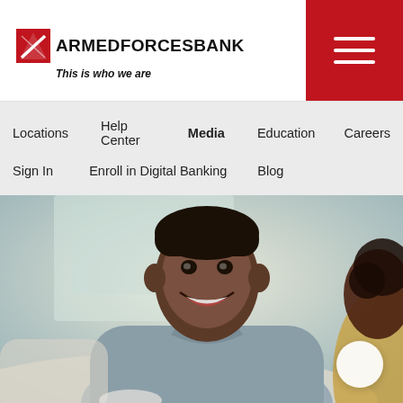[Figure (logo): Armed Forces Bank logo with red diagonal shield icon and text 'ARMEDFORCESBANK' with tagline 'This is who we are']
[Figure (other): Red hamburger menu button in top right corner with three white horizontal lines]
Locations   Help Center   Media   Education   Careers
Sign In   Enroll in Digital Banking   Blog
[Figure (photo): A smiling Black man in a grey shirt sitting at a table in a bright, modern setting, with a woman partially visible on the right side]